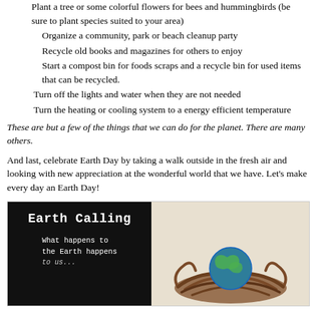Plant a tree or some colorful flowers for bees and hummingbirds (be sure to plant species suited to your area)
Organize a community, park or beach cleanup party
Recycle old books and magazines for others to enjoy
Start a compost bin for foods scraps and a recycle bin for used items that can be recycled.
Turn off the lights and water when they are not needed
Turn the heating or cooling system to a energy efficient temperature
These are but a few of the things that we can do for the planet. There are many others.
And last, celebrate Earth Day by taking a walk outside in the fresh air and looking with new appreciation at the wonderful world that we have. Let's make every day an Earth Day!
[Figure (illustration): Book cover image showing 'Earth Calling' text in typewriter font on black background on the left, with text 'What happens to the Earth happens to...' and on the right a nest with a globe/earth inside it on a light beige background.]